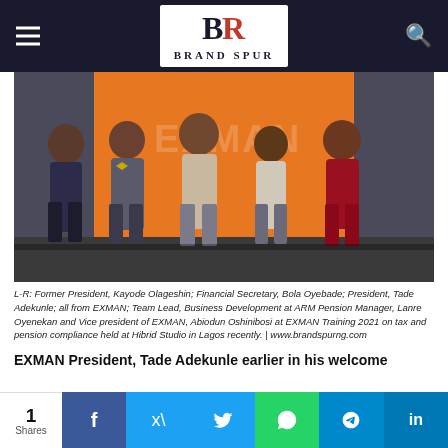Brand Spur
[Figure (photo): Group photo of five men standing in front of an orange-colored backdrop at EXMAN Training 2021 event. L-R: Former President Kayode Olageshin, Financial Secretary Bola Oyebade, President Tade Adekunle (all from EXMAN), Team Lead Business Development at ARM Pension Manager Lanre Oyenekan, and Vice President of EXMAN Abiodun Oshinibosi.]
L-R: Former President, Kayode Olageshin; Financial Secretary, Bola Oyebade; President, Tade Adekunle; all from EXMAN; Team Lead, Business Development at ARM Pension Manager, Lanre Oyenekan and Vice president of EXMAN, Abiodun Oshinibosi at EXMAN Training 2021 on tax and pension compliance held at Hibrid Studio in Lagos recently. | www.brandspurng.com
EXMAN President, Tade Adekunle earlier in his welcome